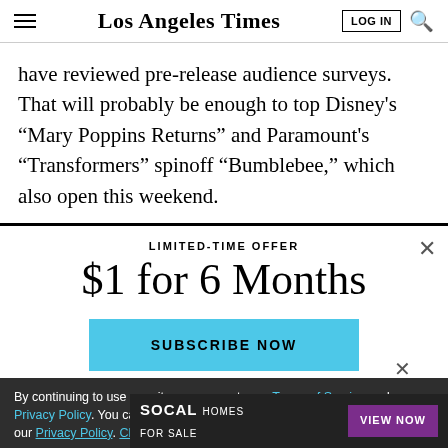Los Angeles Times
have reviewed pre-release audience surveys. That will probably be enough to top Disney’s “Mary Poppins Returns” and Paramount’s “Transformers” spinoff “Bumblebee,” which also open this weekend.
LIMITED-TIME OFFER
$1 for 6 Months
SUBSCRIBE NOW
By continuing to use our site, you agree to our Terms of Service and Privacy Policy. You can learn more about how we use cookies by reviewing our Privacy Policy. Close